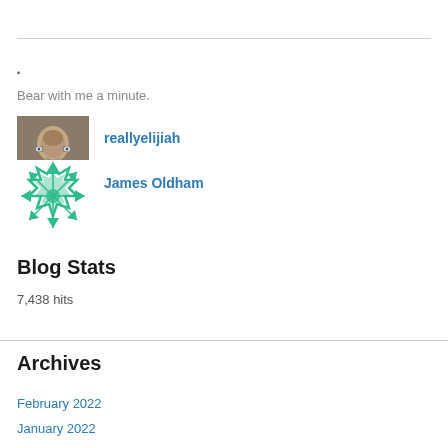•
Bear with me a minute.
[Figure (photo): Profile photo of reallyelijiah - a person's face]
reallyelijiah
[Figure (illustration): Avatar/icon with green snowflake pattern for James Oldham]
James Oldham
Blog Stats
7,438 hits
Archives
February 2022
January 2022
December 2021